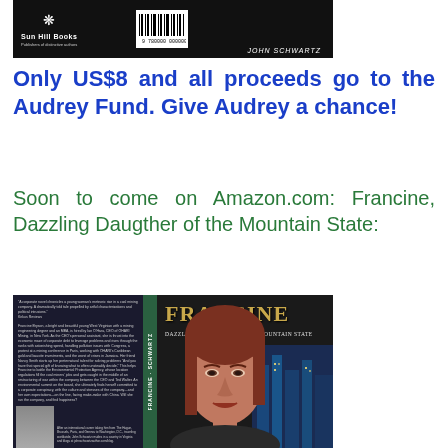[Figure (photo): Book cover for a book by John Schwartz published by Sun Hill Books, showing a dark background with a barcode and author name]
Only US$8 and all proceeds go to the Audrey Fund. Give Audrey a chance!
Soon to come on Amazon.com: Francine, Dazzling Daugther of the Mountain State:
[Figure (photo): Book cover for 'Francine: Dazzling Daughter of the Mountain State' showing a young woman's face and city skyline background]